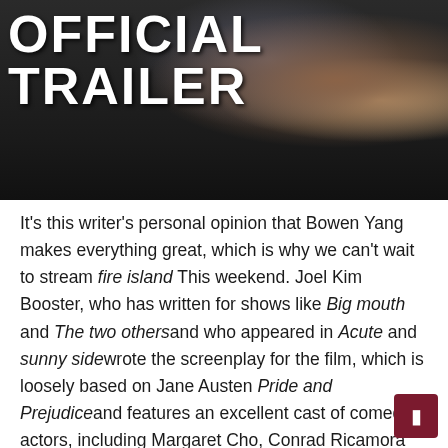[Figure (screenshot): Movie trailer thumbnail showing 'OFFICIAL TRAILER' text overlay in white bold letters on a dark background with partially visible actors]
It's this writer's personal opinion that Bowen Yang makes everything great, which is why we can't wait to stream fire island This weekend. Joel Kim Booster, who has written for shows like Big mouth and The two othersand who appeared in Acute and sunny sidewrote the screenplay for the film, which is loosely based on Jane Austen Pride and Prejudiceand features an excellent cast of comedy actors, including Margaret Cho, Conrad Ricamora and Matt Rogers.